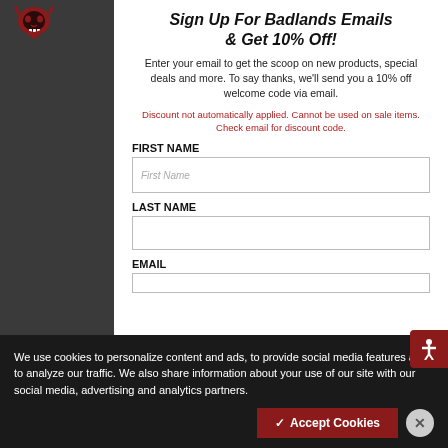Badlands logo and navigation
Sign Up For Badlands Emails & Get 10% Off!
Enter your email to get the scoop on new products, special deals and more. To say thanks, we'll send you a 10% off welcome code via email.
Discount not automatically applied. Cannot be used on sale items. Check email for discount code.
FIRST NAME
LAST NAME
EMAIL
We use cookies to personalize content and ads, to provide social media features and to analyze our traffic. We also share information about your use of our site with our social media, advertising and analytics partners.